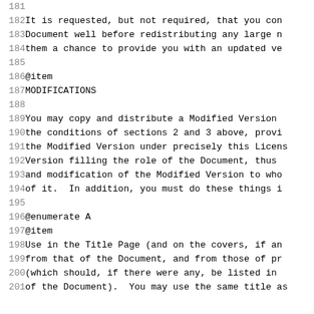181
182 It is requested, but not required, that you con
183 Document well before redistributing any large n
184 them a chance to provide you with an updated ve
185
186 @item
187 MODIFICATIONS
188
189 You may copy and distribute a Modified Version
190 the conditions of sections 2 and 3 above, provi
191 the Modified Version under precisely this Licens
192 Version filling the role of the Document, thus
193 and modification of the Modified Version to who
194 of it.  In addition, you must do these things i
195
196 @enumerate A
197 @item
198 Use in the Title Page (and on the covers, if an
199 from that of the Document, and from those of pr
200 (which should, if there were any, be listed in
201 of the Document).  You may use the same title as